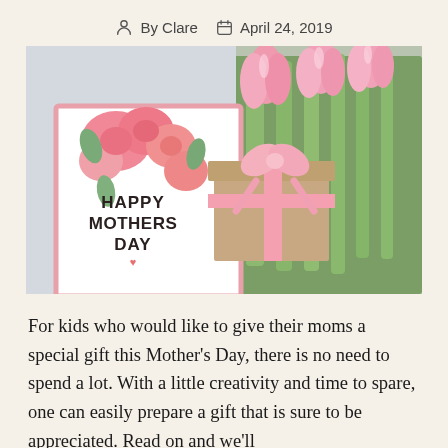By Clare   April 24, 2019
[Figure (photo): A Happy Mother's Day greeting card with pink roses, surrounded by pink tulips and a gift box wrapped with a pink ribbon, on a light gray background.]
For kids who would like to give their moms a special gift this Mother's Day, there is no need to spend a lot. With a little creativity and time to spare, one can easily prepare a gift that is sure to be appreciated. Read on and we'll